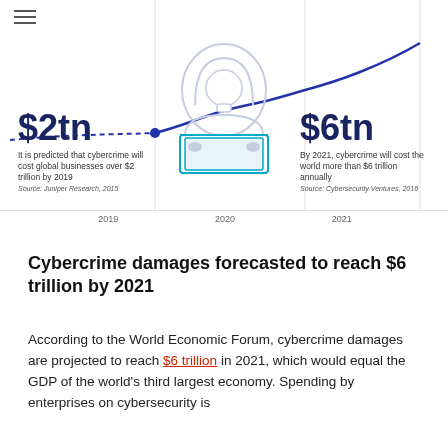[Figure (continuous-plot): Line chart showing cybercrime cost rising from 2019 to 2021, with a dashed line segment at 2019 and a solid rising curve extending to 2021. A hacker illustration (person in hoodie at laptop) is centered in the chart. Data points at $2tn (2019) and $6tn (2021).]
$2tn
It is predicted that cybercrime will cost global businesses over $2 trillion by 2019
Source: Juniper Research, 2015
$6tn
By 2021, cybercrime will cost the world more than $6 trillion annually
Source: Cybersecurity Ventures, 2016
Cybercrime damages forecasted to reach $6 trillion by 2021
According to the World Economic Forum, cybercrime damages are projected to reach $6 trillion in 2021, which would equal the GDP of the world's third largest economy. Spending by enterprises on cybersecurity is